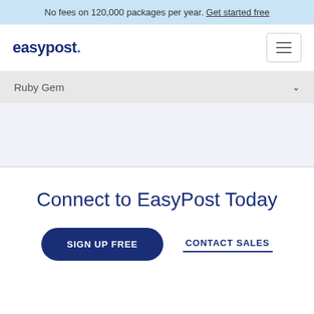No fees on 120,000 packages per year. Get started free
[Figure (logo): EasyPost logo with hamburger menu icon]
Ruby Gem
Connect to EasyPost Today
SIGN UP FREE
CONTACT SALES